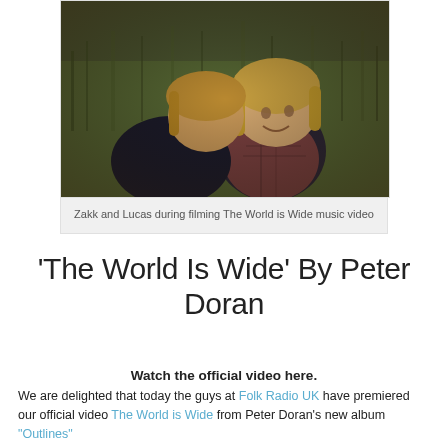[Figure (photo): Two young boys (Zakk and Lucas) close together outdoors in a grassy field, one whispering to the other, during filming of The World is Wide music video]
Zakk and Lucas during filming The World is Wide music video
'The World Is Wide' By Peter Doran
Watch the official video here.
We are delighted that today the guys at Folk Radio UK have premiered our official video The World is Wide from Peter Doran's new album "Outlines"